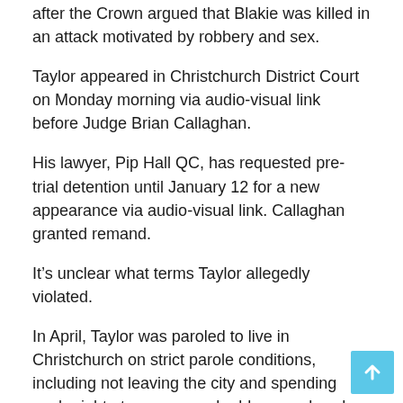after the Crown argued that Blakie was killed in an attack motivated by robbery and sex.
Taylor appeared in Christchurch District Court on Monday morning via audio-visual link before Judge Brian Callaghan.
His lawyer, Pip Hall QC, has requested pre-trial detention until January 12 for a new appearance via audio-visual link. Callaghan granted remand.
It’s unclear what terms Taylor allegedly violated.
In April, Taylor was paroled to live in Christchurch on strict parole conditions, including not leaving the city and spending each night at an approved address, unless he had written permission from do it differently.
He was also not allowed to gamble or possess, use or consume alcohol, controlled drugs or psychoactive substances, except for controlled drugs prescribed by a health professional.